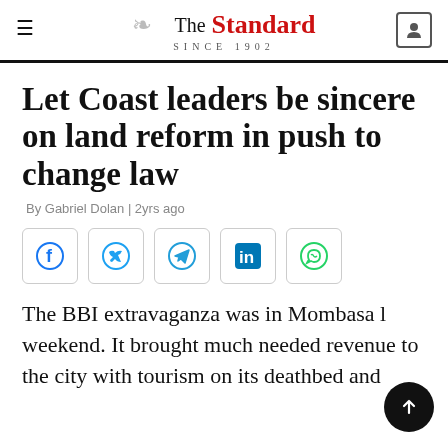The Standard SINCE 1902
Let Coast leaders be sincere on land reform in push to change law
By Gabriel Dolan | 2yrs ago
[Figure (other): Social share icons: Facebook, Twitter, Telegram, LinkedIn, WhatsApp]
The BBI extravaganza was in Mombasa last weekend. It brought much needed revenue to the city with tourism on its deathbed and